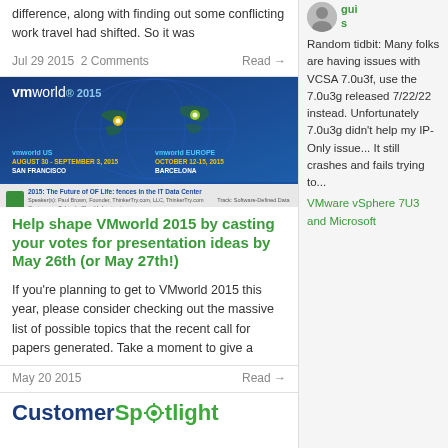difference, along with finding out some conflicting work travel had shifted. So it was
Jul 29 2015  2 Comments    Read →
[Figure (screenshot): VMworld 2015 banner with globe showing US and Europe events. vmworld US August 30 - September 3, 2015 San Francisco. vmworld EUROPE October 12-15, 2015 Barcelona. Below is a session selection page screenshot.]
Help shape VMworld 2015 by casting your votes for presentation ideas by May 26th (or May 27th!)
If you're planning to get to VMworld 2015 this year, please consider checking out the massive list of possible topics that the recent call for papers generated. Take a moment to give a
May 20 2015    Read →
[Figure (logo): Customer Spotlight banner logo]
guils
Random tidbit: Many folks are having issues with VCSA 7.0u3f, use the 7.0u3g released 7/22/22 instead. Unfortunately 7.0u3g didn't help my IP-Only issue... It still crashes and fails trying to...
VMware vSphere 7U3 and Microsoft